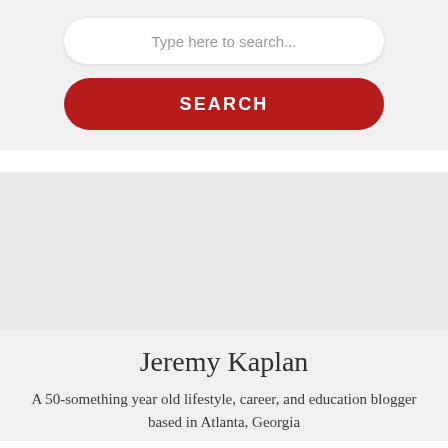Type here to search...
SEARCH
Jeremy Kaplan
A 50-something year old lifestyle, career, and education blogger based in Atlanta, Georgia